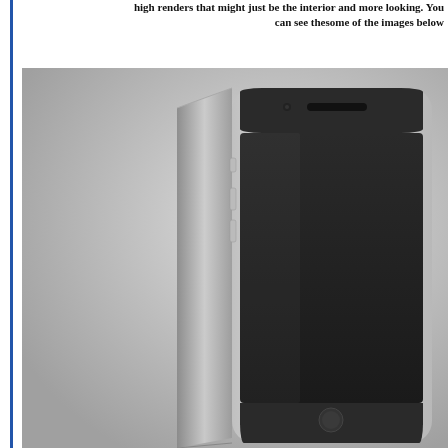high renders that might just be the interior and more looking. You can see thesome of the images below
[Figure (photo): Product photo of a dark/space gray smartphone (iPhone-style) shown at an angle against a gradient gray background. The phone is viewed from slightly above and to the left, showing the front face with a dark screen, earpiece speaker at top, side buttons on the left edge, and silver/white frame.]